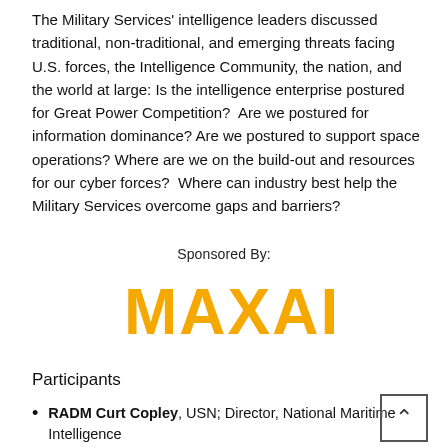The Military Services' intelligence leaders discussed traditional, non-traditional, and emerging threats facing U.S. forces, the Intelligence Community, the nation, and the world at large: Is the intelligence enterprise postured for Great Power Competition?  Are we postured for information dominance? Are we postured to support space operations? Where are we on the build-out and resources for our cyber forces?  Where can industry best help the Military Services overcome gaps and barriers?
Sponsored By:
[Figure (logo): MAXAR logo in orange/gold bold text]
Participants
RADM Curt Copley, USN; Director, National Maritime Intelligence